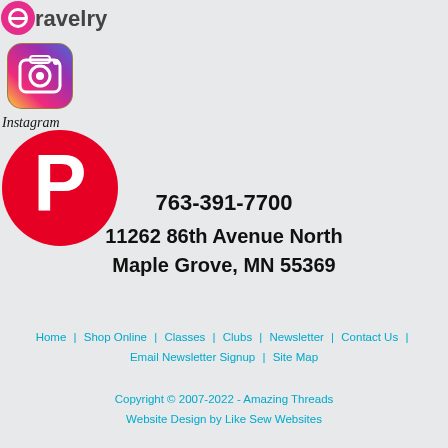[Figure (logo): Ravelry logo with pink/red circle and text 'ravelry']
[Figure (logo): Instagram camera icon logo]
Instagram
[Figure (logo): Pinterest red circular P logo]
763-391-7700
11262 86th Avenue North
Maple Grove, MN 55369
Home | Shop Online | Classes | Clubs | Newsletter | Contact Us | Email Newsletter Signup | Site Map
Copyright © 2007-2022 - Amazing Threads
Website Design by Like Sew Websites